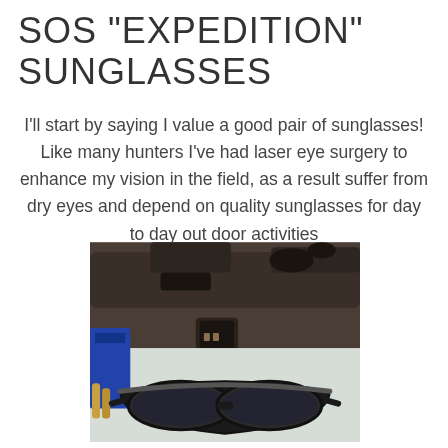SOS "EXPEDITION" SUNGLASSES
I'll start by saying I value a good pair of sunglasses! Like many hunters I've had laser eye surgery to enhance my vision in the field, as a result suffer from dry eyes and depend on quality sunglasses for day to day out door activities
[Figure (photo): Photo of SOS Expedition sunglasses with dark wraparound frames placed in front of firearms and ammunition on a table]